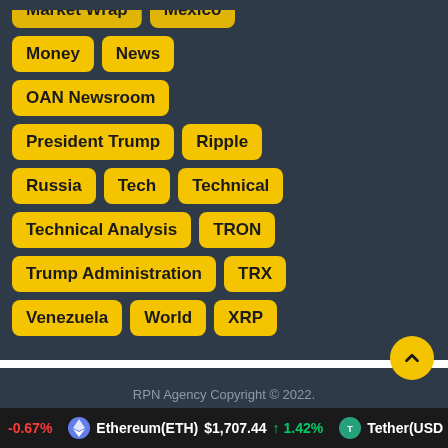Market Wrap
Mexico
Money
News
OAN Newsroom
President Trump
Ripple
Russia
Tech
Technical
Technical Analysis
TRON
Trump Administration
TRX
Venezuela
World
XRP
RPN Agency Copyright © 2022.
-0.67% Ethereum(ETH) $1,707.44 ↑ 1.42% Tether(USD